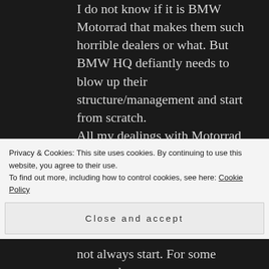I do not know if it is BMW Motorrad that makes them such horrible dealers or what. But BMW HQ defiantly needs to blow up their structure/management and start from scratch. All my dealings with Motorrad have been abominable also logic and decency do not seem to be in their customer service plan. I have tried being, calm and logical with them but they have proven by their actions and none action to not understand logic, there products and services.
Privacy & Cookies: This site uses cookies. By continuing to use this website, you agree to their use.
To find out more, including how to control cookies, see here: Cookie Policy
Close and accept
not always start. For some reason the